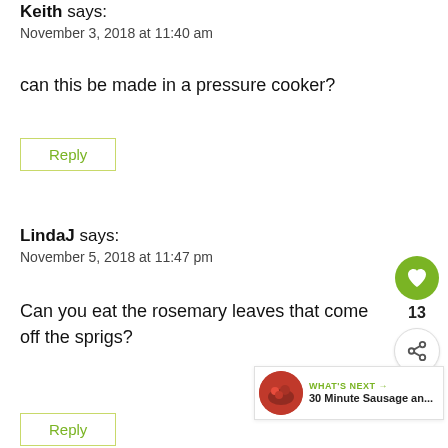Keith says:
November 3, 2018 at 11:40 am
can this be made in a pressure cooker?
Reply
LindaJ says:
November 5, 2018 at 11:47 pm
Can you eat the rosemary leaves that come off the sprigs?
Reply
[Figure (infographic): Floating widget with green heart button showing count 13 and share button]
[Figure (infographic): What's Next widget showing 30 Minute Sausage an... with food thumbnail]